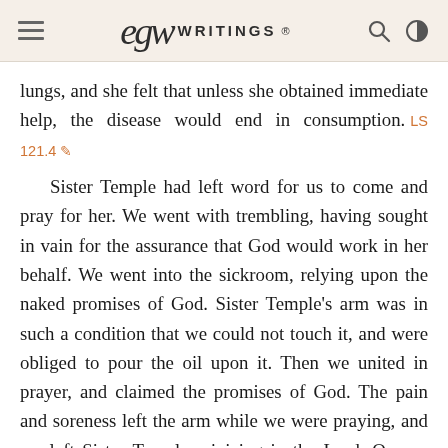EGW WRITINGS®
lungs, and she felt that unless she obtained immediate help, the disease would end in consumption. LS 121.4
Sister Temple had left word for us to come and pray for her. We went with trembling, having sought in vain for the assurance that God would work in her behalf. We went into the sickroom, relying upon the naked promises of God. Sister Temple's arm was in such a condition that we could not touch it, and were obliged to pour the oil upon it. Then we united in prayer, and claimed the promises of God. The pain and soreness left the arm while we were praying, and we left Sister Temple rejoicing in the Lord. On our return, eight days later, we found her in good